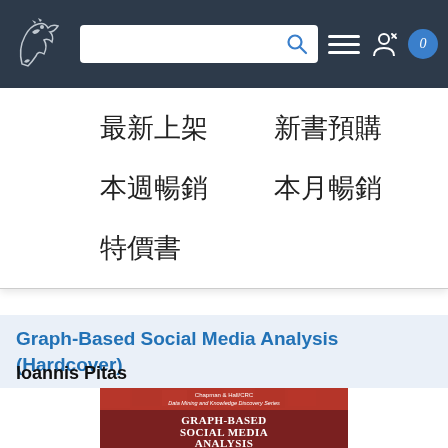[Figure (screenshot): Website navigation bar with dragon logo, search box, menu icon, user icon, and cart icon on dark background]
最新上架
新書預購
本週暢銷
本月暢銷
特價書
Graph-Based Social Media Analysis (Hardcover)
Ioannis Pitas
[Figure (photo): Book cover for Graph-Based Social Media Analysis, Chapman & Hall/CRC Data Mining and Knowledge Discovery Series, with dark red/brown mosaic background]